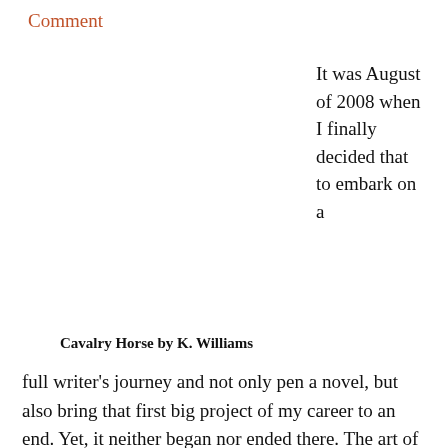Comment
Cavalry Horse by K. Williams
It was August of 2008 when I finally decided that to embark on a
full writer's journey and not only pen a novel, but also bring that first big project of my career to an end. Yet, it neither began nor ended there. The art of writing a novel is a much more unpredictable animal.